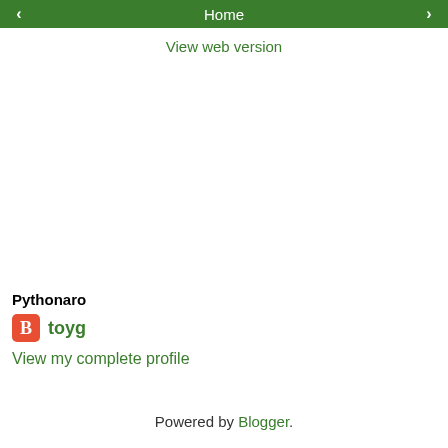< Home >
View web version
Pythonaro
toyg
View my complete profile
Powered by Blogger.